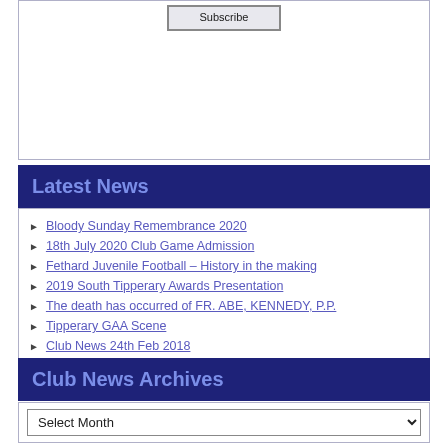[Figure (screenshot): Top white box with a Subscribe button at the top center]
Latest News
Bloody Sunday Remembrance 2020
18th July 2020 Club Game Admission
Fethard Juvenile Football – History in the making
2019 South Tipperary Awards Presentation
The death has occurred of FR. ABE, KENNEDY, P.P.
Tipperary GAA Scene
Club News 24th Feb 2018
Club News January 2018
Club News Archives
Select Month